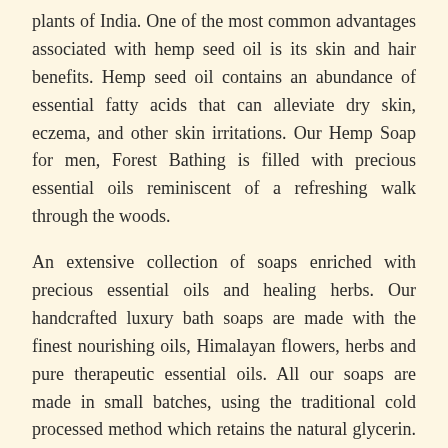plants of India. One of the most common advantages associated with hemp seed oil is its skin and hair benefits. Hemp seed oil contains an abundance of essential fatty acids that can alleviate dry skin, eczema, and other skin irritations. Our Hemp Soap for men, Forest Bathing is filled with precious essential oils reminiscent of a refreshing walk through the woods.
An extensive collection of soaps enriched with precious essential oils and healing herbs. Our handcrafted luxury bath soaps are made with the finest nourishing oils, Himalayan flowers, herbs and pure therapeutic essential oils. All our soaps are made in small batches, using the traditional cold processed method which retains the natural glycerin. Each bar is hand-cut, cured for 2 months in the pure mountain air and individually packed. Our colors are plant-derived; we do not use artificial colors or preservatives. READ MORE